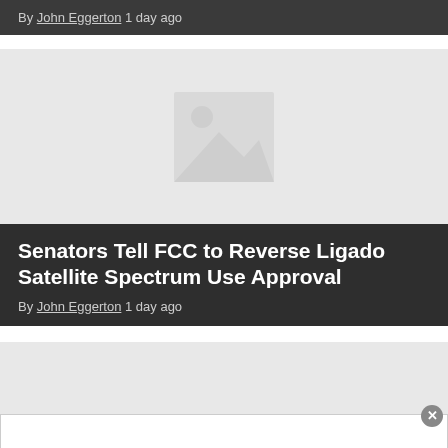By John Eggerton 1 day ago
[Figure (photo): Placeholder image with mountain/landscape icon on light gray background]
Senators Tell FCC to Reverse Ligado Satellite Spectrum Use Approval
By John Eggerton 1 day ago
[Figure (photo): Partial placeholder image, light gray background, with close button overlay]